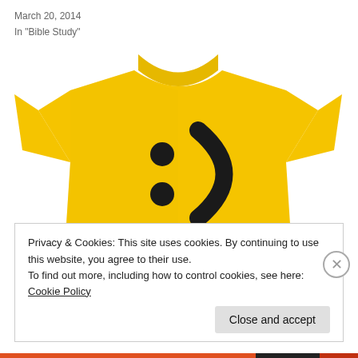March 20, 2014
In "Bible Study"
[Figure (photo): Yellow t-shirt with a smiley face made of colon and parenthesis characters, and text 'Smile, God Loves You' printed below the smiley face.]
Privacy & Cookies: This site uses cookies. By continuing to use this website, you agree to their use.
To find out more, including how to control cookies, see here: Cookie Policy
Close and accept